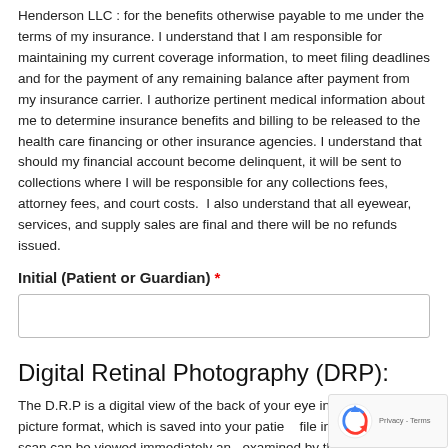Henderson LLC : for the benefits otherwise payable to me under the terms of my insurance. I understand that I am responsible for maintaining my current coverage information, to meet filing deadlines and for the payment of any remaining balance after payment from my insurance carrier. I authorize pertinent medical information about me to determine insurance benefits and billing to be released to the health care financing or other insurance agencies. I understand that should my financial account become delinquent, it will be sent to collections where I will be responsible for any collections fees, attorney fees, and court costs.  I also understand that all eyewear, services, and supply sales are final and there will be no refunds issued.
Initial (Patient or Guardian) *
Digital Retinal Photography (DRP):
The D.R.P is a digital view of the back of your eye in a high definition picture format, which is saved into your patient file in our office. This scan can be viewed immediately and examined by the Doctor during your exam. The D.R.P allows the Doctor a much wider field of view than most traditional